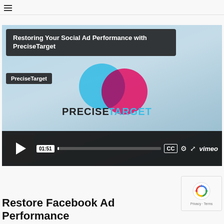≡
[Figure (screenshot): Vimeo video embed showing 'Restoring Your Social Ad Performance with PreciseTarget' with PreciseTarget logo (two overlapping circles in blue and pink with text PRECISETARGET), video controls bar showing time 01:51, play button, progress bar, CC, settings, fullscreen, and Vimeo logo]
[Figure (logo): Google reCAPTCHA badge with recycling-arrow icon and Privacy - Terms text]
Restore Facebook Ad Performance